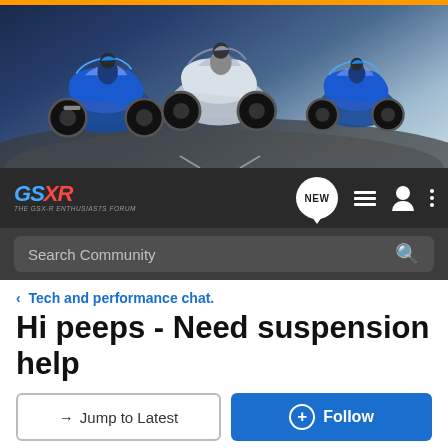[Figure (photo): Banner image showing three Suzuki GSX-R motorcycles racing on a track. Orange stripe at top.]
GSXR logo and navigation bar with NEW button, list icon, user icon, and more options icon. Search Community search bar.
< Tech and performance chat.
Hi peeps - Need suspension help
→ Jump to Latest   + Follow
1 - 3 of 3 Posts
Afro · Registered
Joined Jul 17, 2009 · 10 Posts